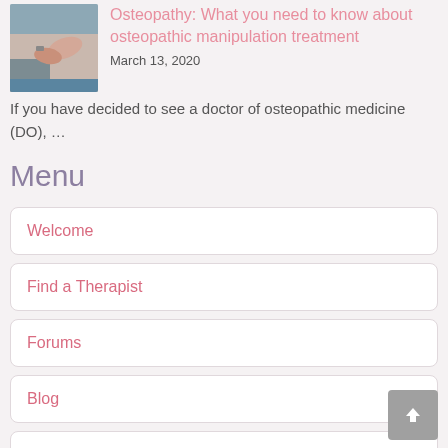[Figure (photo): Hands performing osteopathic manipulation on a patient's back]
Osteopathy: What you need to know about osteopathic manipulation treatment
March 13, 2020
If you have decided to see a doctor of osteopathic medicine (DO), …
Menu
Welcome
Find a Therapist
Forums
Blog
Contact Us